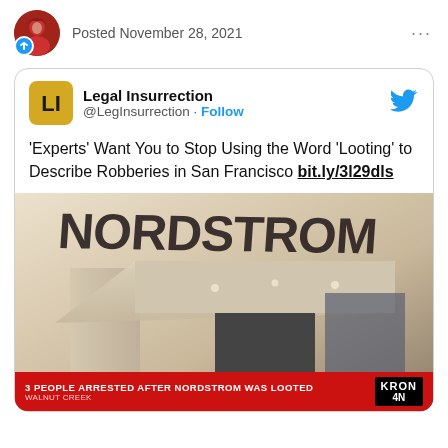Posted November 28, 2021
Legal Insurrection @LegInsurrection · Follow
'Experts' Want You to Stop Using the Word 'Looting' to Describe Robberies in San Francisco bit.ly/3l29dls
[Figure (screenshot): News broadcast screenshot showing Nordstrom store exterior with text overlay '3 PEOPLE ARRESTED AFTER NORDSTROM WAS LOOTED WALNUT CREEK' and KRON ON logo in bottom right]